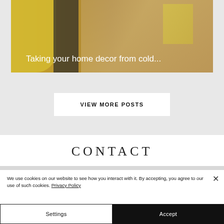[Figure (photo): A home decor photo showing yellow/lime items including what appears to be sandals or slippers and a yellow box/book, on a warm beige background. White text overlay reads: Taking your home decor from cold...]
Taking your home decor from cold...
VIEW MORE POSTS
CONTACT
We use cookies on our website to see how you interact with it. By accepting, you agree to our use of such cookies. Privacy Policy
Settings
Accept